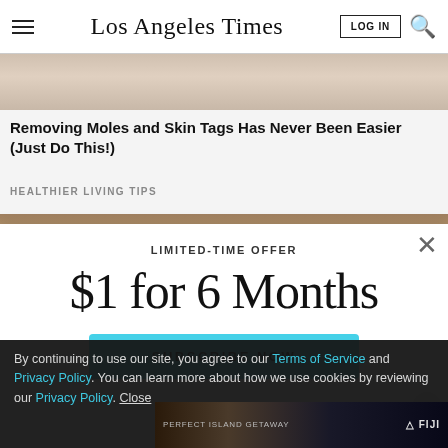Los Angeles Times
[Figure (photo): Partial photo of skin/body, top portion cut off, brownish skin tones]
Removing Moles and Skin Tags Has Never Been Easier (Just Do This!)
HEALTHIER LIVING TIPS
[Figure (photo): Partial photo at bottom, brownish/reddish textured surface]
LIMITED-TIME OFFER
$1 for 6 Months
SUBSCRIBE NOW
By continuing to use our site, you agree to our Terms of Service and Privacy Policy. You can learn more about how we use cookies by reviewing our Privacy Policy. Close